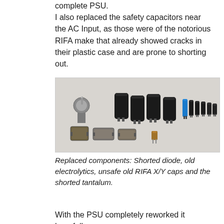lots of electronics, and I went with recapping the complete PSU.
I also replaced the safety capacitors near the AC Input, as those were of the notorious RIFA make that already showed cracks in their plastic case and are prone to shorting out.
[Figure (photo): A collection of replaced electronic components laid out on a grey surface: a shorted diode (metallic component), several large black electrolytic capacitors, a row of smaller capacitors including one blue capacitor, two old brownish-grey RIFA X/Y capacitors, and a small brown tantalum capacitor.]
Replaced components: Shorted diode, old electrolytics, unsafe old RIFA X/Y caps and the shorted tantalum.
With the PSU completely reworked it hopefully